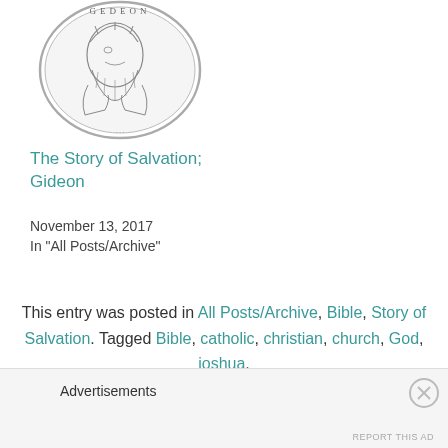[Figure (illustration): A circular coin or medallion engraving depicting a bearded figure (Gideon) in profile, with text around the border reading 'GEDEON']
The Story of Salvation; Gideon
November 13, 2017
In "All Posts/Archive"
This entry was posted in All Posts/Archive, Bible, Story of Salvation. Tagged Bible, catholic, christian, church, God, joshua.
PREVIOUS POST
Advertisements
REPORT THIS AD